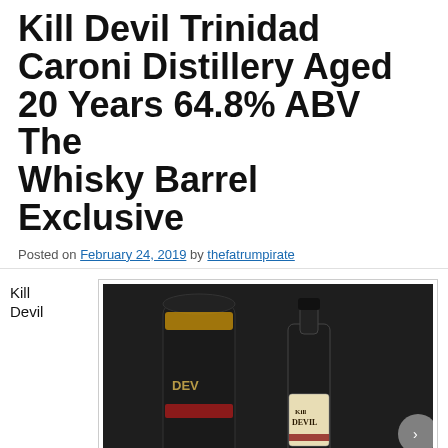Kill Devil Trinidad Caroni Distillery Aged 20 Years 64.8% ABV The Whisky Barrel Exclusive
Posted on February 24, 2019 by thefatrumpirate
Kill Devil
[Figure (photo): Photo of Kill Devil Trinidad Caroni Distillery rum — a dark cylindrical tube packaging and a bottle with a Kill Devil label, both placed on a dark surface.]